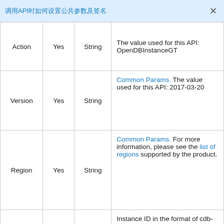调用API时如何设置公共参数及签名
| Parameter | Required | Type | Description |
| --- | --- | --- | --- |
| Action | Yes | String | The value used for this API: OpenDBInstanceGT |
| Version | Yes | String | Common Params. The value used for this API: 2017-03-20 |
| Region | Yes | String | Common Params. For more information, please see the list of regions supported by the product. |
|  |  |  | Instance ID in the format of cdb-c1nl9rpv. It is the |